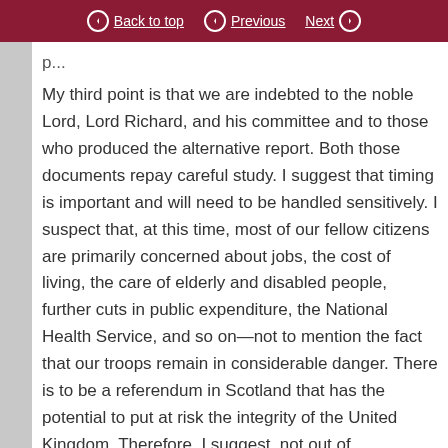Back to top | Previous | Next
My third point is that we are indebted to the noble Lord, Lord Richard, and his committee and to those who produced the alternative report. Both those documents repay careful study. I suggest that timing is important and will need to be handled sensitively. I suspect that, at this time, most of our fellow citizens are primarily concerned about jobs, the cost of living, the care of elderly and disabled people, further cuts in public expenditure, the National Health Service, and so on—not to mention the fact that our troops remain in considerable danger. There is to be a referendum in Scotland that has the potential to put at risk the integrity of the United Kingdom. Therefore, I suggest, not out of complacency but out of opportunity, that we ought